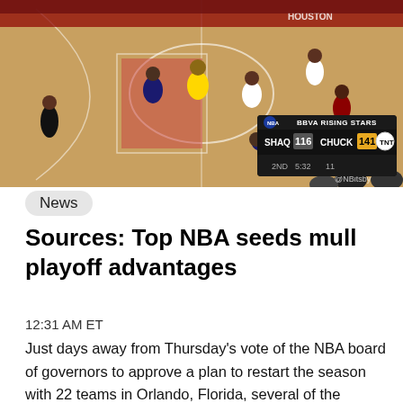[Figure (photo): NBA basketball game screenshot showing players on court during DDVA Rising Stars game. Scoreboard overlay shows SHAQ 116, CHUCK 141, 2nd quarter, 5:32, 11. TNT broadcast.]
News
Sources: Top NBA seeds mull playoff advantages
12:31 AM ET
Just days away from Thursday's vote of the NBA board of governors to approve a plan to restart the season with 22 teams in Orlando, Florida, several of the franchises considered to be title favorites are internally discussing how to retain some semblance of the home-court advantage they fought to earn through 60-plus games in the regular season.